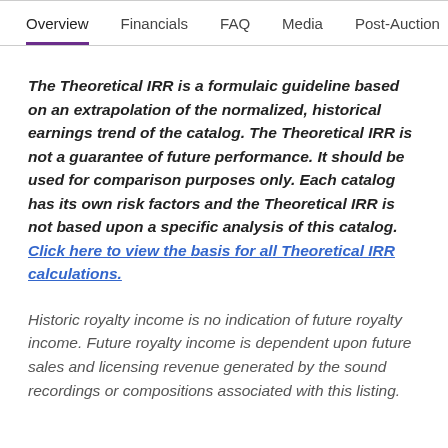Overview | Financials | FAQ | Media | Post-Auction
The Theoretical IRR is a formulaic guideline based on an extrapolation of the normalized, historical earnings trend of the catalog. The Theoretical IRR is not a guarantee of future performance. It should be used for comparison purposes only. Each catalog has its own risk factors and the Theoretical IRR is not based upon a specific analysis of this catalog. Click here to view the basis for all Theoretical IRR calculations.
Historic royalty income is no indication of future royalty income. Future royalty income is dependent upon future sales and licensing revenue generated by the sound recordings or compositions associated with this listing.